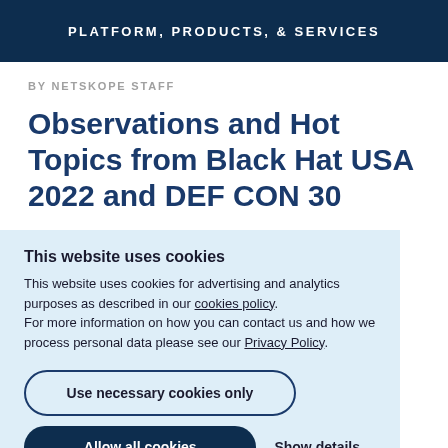PLATFORM, PRODUCTS, & SERVICES
BY NETSKOPE STAFF
Observations and Hot Topics from Black Hat USA 2022 and DEF CON 30
This website uses cookies
This website uses cookies for advertising and analytics purposes as described in our cookies policy.
For more information on how you can contact us and how we process personal data please see our Privacy Policy.
Use necessary cookies only
Allow all cookies
Show details